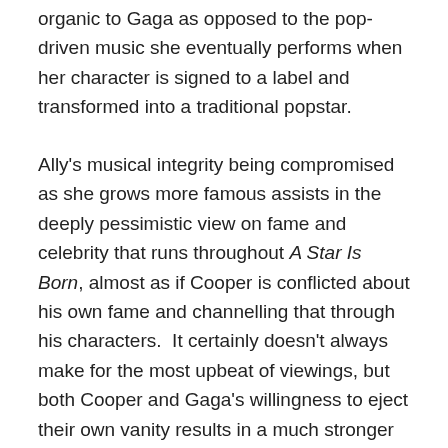organic to Gaga as opposed to the pop-driven music she eventually performs when her character is signed to a label and transformed into a traditional popstar.
Ally's musical integrity being compromised as she grows more famous assists in the deeply pessimistic view on fame and celebrity that runs throughout A Star Is Born, almost as if Cooper is conflicted about his own fame and channelling that through his characters.  It certainly doesn't always make for the most upbeat of viewings, but both Cooper and Gaga's willingness to eject their own vanity results in a much stronger film.
It almost seems certain that other critics (and the most vocal of viewers) will have their fingers at the ready to detract from the film's success and label it overrated (similar to the La La Land debate of 2016), and certainly the base story here is far from original, but working with